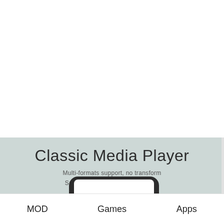[Figure (screenshot): App banner for Classic Media Player on a light blue-gray background. Shows a title 'Classic Media Player', subtitle 'Multi-formats support, no transform / Satisfy your ears, eyes and brain.' and the top portion of a phone mockup displaying the app.]
MOD   Games   Apps